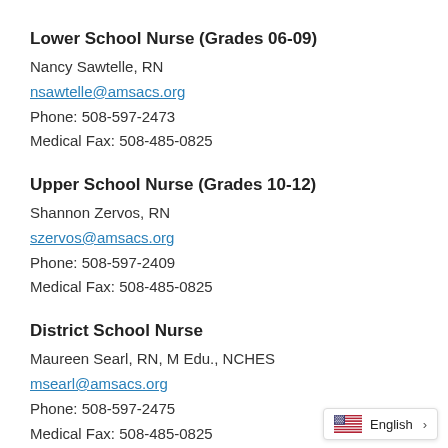Lower School Nurse (Grades 06-09)
Nancy Sawtelle, RN
nsawtelle@amsacs.org
Phone: 508-597-2473
Medical Fax: 508-485-0825
Upper School Nurse (Grades 10-12)
Shannon Zervos, RN
szervos@amsacs.org
Phone: 508-597-2409
Medical Fax: 508-485-0825
District School Nurse
Maureen Searl, RN, M Edu., NCHES
msearl@amsacs.org
Phone: 508-597-2475
Medical Fax: 508-485-0825